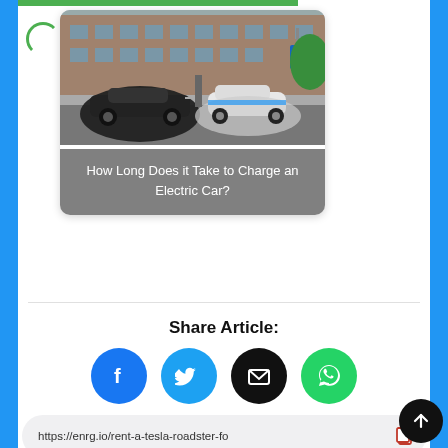[Figure (photo): Photo of electric cars parked on a street being charged, including a black Tesla and a white small EV, in front of brick buildings]
How Long Does it Take to Charge an Electric Car?
Share Article:
[Figure (infographic): Share buttons: Facebook, Twitter, Email, WhatsApp]
https://enrg.io/rent-a-tesla-roadster-fo